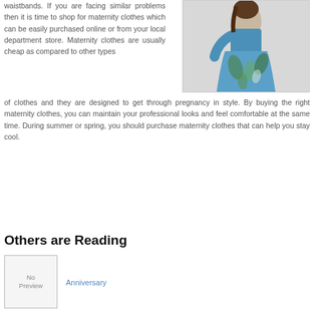waistbands. If you are facing similar problems then it is time to shop for maternity clothes which can be easily purchased online or from your local department store. Maternity clothes are usually cheap as compared to other types of clothes and they are designed to get through pregnancy in style. By buying the right maternity clothes, you can maintain your professional looks and feel comfortable at the same time. During summer or spring, you should purchase maternity clothes that can help you stay cool.
[Figure (photo): A woman wearing a blue floral/tropical print maxi dress or gown]
Others are Reading
[Figure (photo): No Preview placeholder image box]
Anniversary